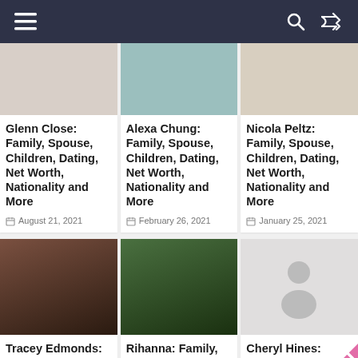Navigation bar with menu, search, and shuffle icons
Glenn Close: Family, Spouse, Children, Dating, Net Worth, Nationality and More — August 21, 2021
Alexa Chung: Family, Spouse, Children, Dating, Net Worth, Nationality and More — February 26, 2021
Nicola Peltz: Family, Spouse, Children, Dating, Net Worth, Nationality and More — January 25, 2021
Tracey Edmonds: Family,
Rihanna: Family,
Cheryl Hines: Family,